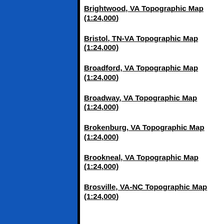[Figure (other): Blue sidebar panel on the left side of the page]
Brightwood, VA Topographic Map (1:24,000)
Bristol, TN-VA Topographic Map (1:24,000)
Broadford, VA Topographic Map (1:24,000)
Broadway, VA Topographic Map (1:24,000)
Brokenburg, VA Topographic Map (1:24,000)
Brookneal, VA Topographic Map (1:24,000)
Brosville, VA-NC Topographic Map (1:24,000)